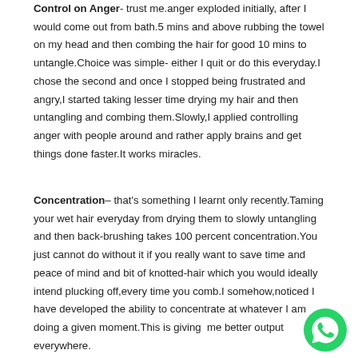Control on Anger- trust me.anger exploded initially, after I would come out from bath.5 mins and above rubbing the towel on my head and then combing the hair for good 10 mins to untangle.Choice was simple- either I quit or do this everyday.I chose the second and once I stopped being frustrated and angry,I started taking lesser time drying my hair and then untangling and combing them.Slowly,I applied controlling anger with people around and rather apply brains and get things done faster.It works miracles.
Concentration– that's something I learnt only recently.Taming your wet hair everyday from drying them to slowly untangling and then back-brushing takes 100 percent concentration.You just cannot do without it if you really want to save time and peace of mind and bit of knotted-hair which you would ideally intend plucking off,every time you comb.I somehow,noticed I have developed the ability to concentrate at whatever I am doing a given moment.This is giving  me better output everywhere.